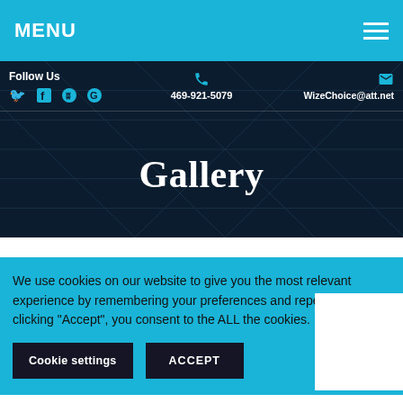MENU
Follow Us
469-921-5079
WizeChoice@att.net
Gallery
We use cookies on our website to give you the most relevant experience by remembering your preferences and repeat visits. By clicking “Accept”, you consent to the ALL the cookies.
Cookie settings
ACCEPT